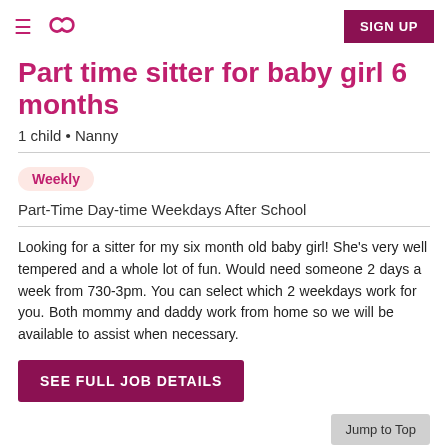≡ ∞ | SIGN UP
Part time sitter for baby girl 6 months
1 child • Nanny
Weekly
Part-Time Day-time Weekdays After School
Looking for a sitter for my six month old baby girl! She's very well tempered and a whole lot of fun. Would need someone 2 days a week from 730-3pm. You can select which 2 weekdays work for you. Both mommy and daddy work from home so we will be available to assist when necessary.
SEE FULL JOB DETAILS
Posted by Emily L. on 8/24/2022   Jump to Top   Report job